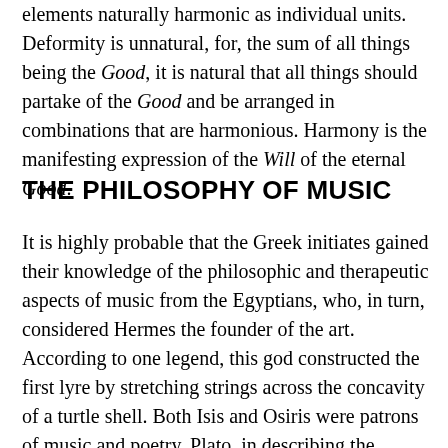elements naturally harmonic as individual units. Deformity is unnatural, for, the sum of all things being the Good, it is natural that all things should partake of the Good and be arranged in combinations that are harmonious. Harmony is the manifesting expression of the Will of the eternal Good.
THE PHILOSOPHY OF MUSIC
It is highly probable that the Greek initiates gained their knowledge of the philosophic and therapeutic aspects of music from the Egyptians, who, in turn, considered Hermes the founder of the art. According to one legend, this god constructed the first lyre by stretching strings across the concavity of a turtle shell. Both Isis and Osiris were patrons of music and poetry. Plato, in describing the antiquity of these arts among the Egyptians, declared that songs and poetry had existed in Egypt for at least ten thousand years, and that these were of such an exalted and inspiring nature that only gods or godlike men could have composed them. In the Mysteries the